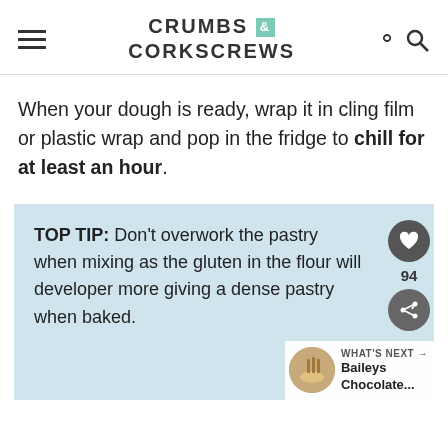CRUMBS & CORKSCREWS
When your dough is ready, wrap it in cling film or plastic wrap and pop in the fridge to chill for at least an hour.
TOP TIP: Don't overwork the pastry when mixing as the gluten in the flour will developer more giving a dense pastry when baked.